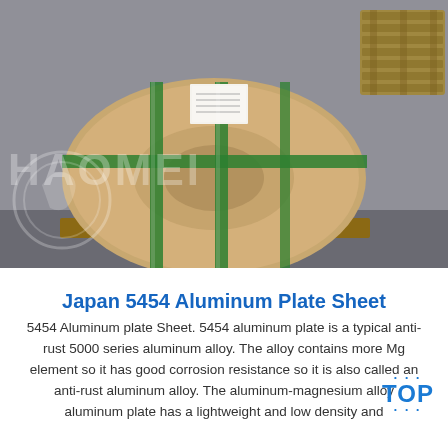[Figure (photo): A large aluminum coil wrapped in brown paper with green strapping bands, placed on a wooden pallet in a warehouse. A HAOMEI watermark is visible across the image. A smaller wooden crate is visible at upper right.]
Japan 5454 Aluminum Plate Sheet
5454 Aluminum plate Sheet. 5454 aluminum plate is a typical anti-rust 5000 series aluminum alloy. The alloy contains more Mg element so it has good corrosion resistance so it is also called an anti-rust aluminum alloy. The aluminum-magnesium alloy aluminum plate has a lightweight and low density and